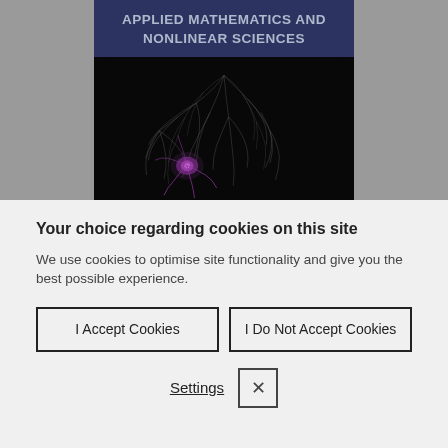[Figure (illustration): Book cover for 'Applied Mathematics and Nonlinear Sciences' showing neural network/neuron imagery on dark background with dark blue title bar]
Your choice regarding cookies on this site
We use cookies to optimise site functionality and give you the best possible experience.
I Accept Cookies
I Do Not Accept Cookies
Settings